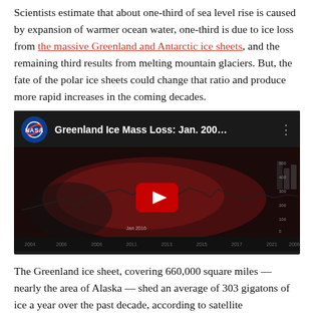Scientists estimate that about one-third of sea level rise is caused by expansion of warmer ocean water, one-third is due to ice loss from the massive Greenland and Antarctic ice sheets, and the remaining third results from melting mountain glaciers. But, the fate of the polar ice sheets could change that ratio and produce more rapid increases in the coming decades.
[Figure (screenshot): YouTube video thumbnail showing NASA video titled 'Greenland Ice Mass Loss: Jan. 200...' with NASA logo, dark background showing a map visualization of Greenland ice mass loss data with a line graph overlay, and a YouTube play button in the center.]
The Greenland ice sheet, covering 660,000 square miles — nearly the area of Alaska — shed an average of 303 gigatons of ice a year over the past decade, according to satellite measurements. The